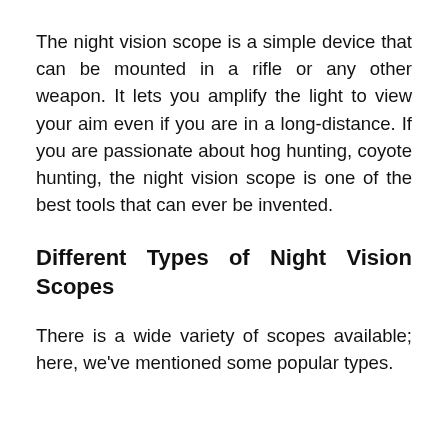The night vision scope is a simple device that can be mounted in a rifle or any other weapon. It lets you amplify the light to view your aim even if you are in a long-distance. If you are passionate about hog hunting, coyote hunting, the night vision scope is one of the best tools that can ever be invented.
Different Types of Night Vision Scopes
There is a wide variety of scopes available; here, we've mentioned some popular types.